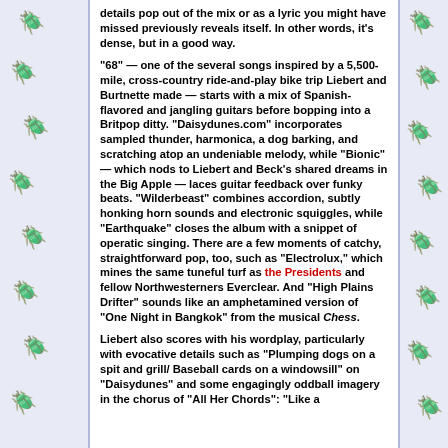details pop out of the mix or as a lyric you might have missed previously reveals itself. In other words, it's dense, but in a good way.
"68" — one of the several songs inspired by a 5,500-mile, cross-country ride-and-play bike trip Liebert and Burtnette made — starts with a mix of Spanish-flavored and jangling guitars before bopping into a Britpop ditty. "Daisydunes.com" incorporates sampled thunder, harmonica, a dog barking, and scratching atop an undeniable melody, while "Bionic" — which nods to Liebert and Beck's shared dreams in the Big Apple — laces guitar feedback over funky beats. "Wilderbeast" combines accordion, subtly honking horn sounds and electronic squiggles, while "Earthquake" closes the album with a snippet of operatic singing. There are a few moments of catchy, straightforward pop, too, such as "Electrolux," which mines the same tuneful turf as the Presidents and fellow Northwesterners Everclear. And "High Plains Drifter" sounds like an amphetamined version of "One Night in Bangkok" from the musical Chess.
Liebert also scores with his wordplay, particularly with evocative details such as "Plumping dogs on a spit and grill/ Baseball cards on a windowsill" on "Daisydunes" and some engagingly oddball imagery in the chorus of "All Her Chords": "Like a